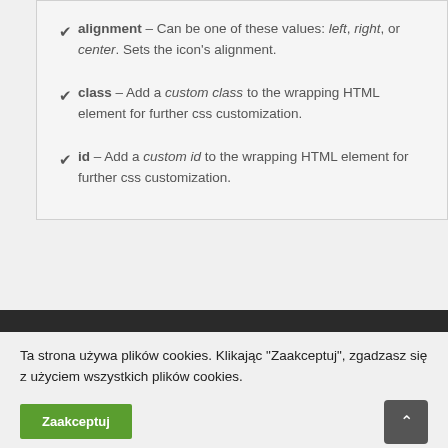alignment – Can be one of these values: left, right, or center. Sets the icon's alignment.
class – Add a custom class to the wrapping HTML element for further css customization.
id – Add a custom id to the wrapping HTML element for further css customization.
Ta strona używa plików cookies. Klikając "Zaakceptuj", zgadzasz się z użyciem wszystkich plików cookies.
Zaakceptuj